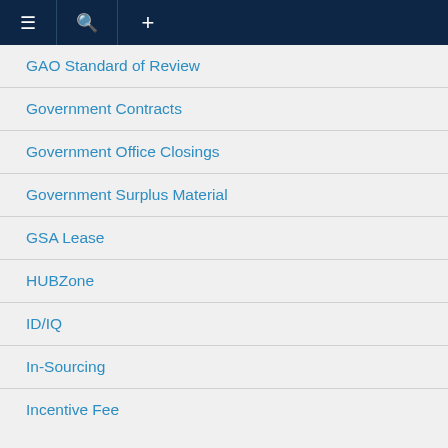≡  🔍  +
GAO Standard of Review
Government Contracts
Government Office Closings
Government Surplus Material
GSA Lease
HUBZone
ID/IQ
In-Sourcing
Incentive Fee